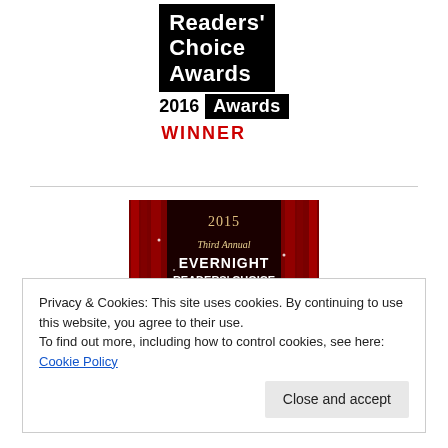[Figure (logo): Readers' Choice Awards 2016 WINNER logo — black box with white text 'Readers' Choice Awards', '2016 Awards' label, red WINNER text below]
[Figure (illustration): 2015 Third Annual Evernight Readers' Choice Awards WINNER Best Contemporary badge with red curtain background]
Privacy & Cookies: This site uses cookies. By continuing to use this website, you agree to their use.
To find out more, including how to control cookies, see here: Cookie Policy
Close and accept